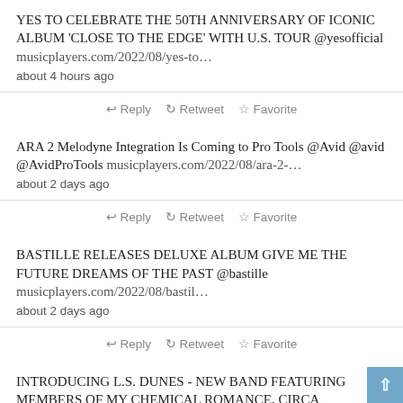YES TO CELEBRATE THE 50TH ANNIVERSARY OF ICONIC ALBUM 'CLOSE TO THE EDGE' WITH U.S. TOUR @yesofficial musicplayers.com/2022/08/yes-to… about 4 hours ago
↩ Reply ↺ Retweet ☆ Favorite
ARA 2 Melodyne Integration Is Coming to Pro Tools @Avid @avid @AvidProTools musicplayers.com/2022/08/ara-2-… about 2 days ago
↩ Reply ↺ Retweet ☆ Favorite
BASTILLE RELEASES DELUXE ALBUM GIVE ME THE FUTURE DREAMS OF THE PAST @bastille musicplayers.com/2022/08/bastil… about 2 days ago
↩ Reply ↺ Retweet ☆ Favorite
INTRODUCING L.S. DUNES - NEW BAND FEATURING MEMBERS OF MY CHEMICAL ROMANCE, CIRCA